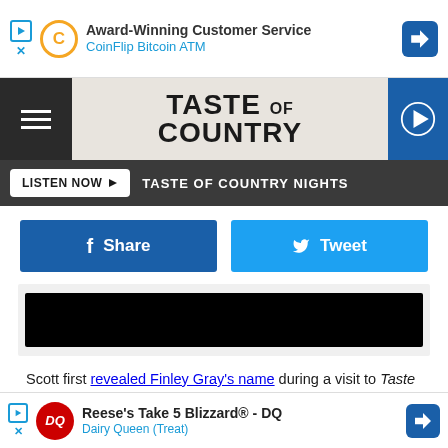[Figure (screenshot): Advertisement banner: Award-Winning Customer Service, CoinFlip Bitcoin ATM]
TASTE OF COUNTRY
LISTEN NOW ▶ TASTE OF COUNTRY NIGHTS
Share
Tweet
[Figure (screenshot): Embedded video player (black rectangle)]
Scott first revealed Finley Gray's name during a visit to Taste of Country Nights earlier this month, admitting that it was the name he really wanted for his daughter. "I'll just tell you what I want," he noted. "This is what I want it to be and I think she wants it there: which
[Figure (screenshot): Advertisement banner: Reese's Take 5 Blizzard® - DQ, Dairy Queen (Treat)]